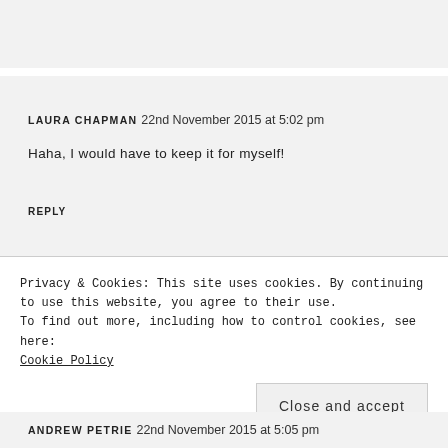LAURA CHAPMAN 22nd November 2015 at 5:02 pm
Haha, I would have to keep it for myself!
REPLY
BECKY YEOMANS 22nd November 2015 at 5:05 pm
Privacy & Cookies: This site uses cookies. By continuing to use this website, you agree to their use.
To find out more, including how to control cookies, see here:
Cookie Policy
Close and accept
ANDREW PETRIE 22nd November 2015 at 5:05 pm